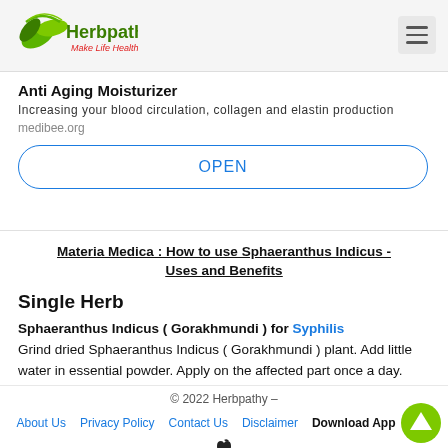Herbpathy - Make Life Healthy
Anti Aging Moisturizer
Increasing your blood circulation, collagen and elastin production
medibee.org
OPEN
Materia Medica : How to use Sphaeranthus Indicus - Uses and Benefits
Single Herb
Sphaeranthus Indicus ( Gorakhmundi ) for Syphilis
Grind dried Sphaeranthus Indicus ( Gorakhmundi ) plant. Add little water in essential powder. Apply on the affected part once a day.
© 2022 Herbpathy –
About Us  Privacy Policy  Contact Us  Disclaimer  Download App